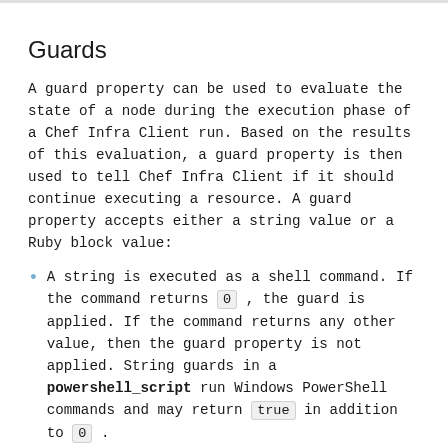Guards
A guard property can be used to evaluate the state of a node during the execution phase of a Chef Infra Client run. Based on the results of this evaluation, a guard property is then used to tell Chef Infra Client if it should continue executing a resource. A guard property accepts either a string value or a Ruby block value:
A string is executed as a shell command. If the command returns 0, the guard is applied. If the command returns any other value, then the guard property is not applied. String guards in a powershell_script run Windows PowerShell commands and may return true in addition to 0.
A block is executed as Ruby code that must return either true or false. If the block returns true, the guard property is applied. If the block returns